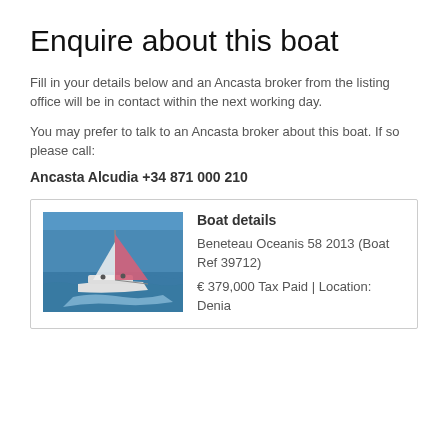Enquire about this boat
Fill in your details below and an Ancasta broker from the listing office will be in contact within the next working day.
You may prefer to talk to an Ancasta broker about this boat. If so please call:
Ancasta Alcudia +34 871 000 210
[Figure (photo): Aerial view of a Beneteau Oceanis 58 sailing yacht at sea with white hull and pink/red sail, heeled over in blue water]
Boat details
Beneteau Oceanis 58 2013 (Boat Ref 39712)
€ 379,000 Tax Paid | Location: Denia